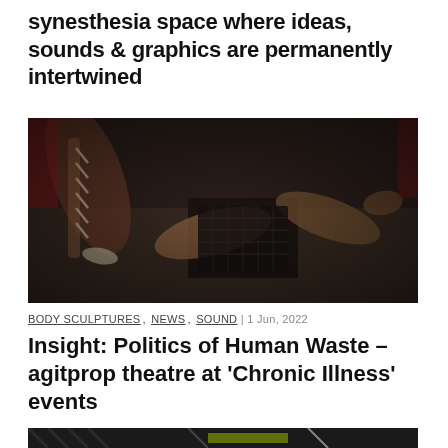synesthesia space where ideas, sounds & graphics are permanently intertwined
[Figure (photo): Dark artistic performance/body sculpture photograph showing figures on the ground, one bound with rope, dramatic dark tones]
BODY SCULPTURES, NEWS, SOUND | 1 Jun, 2022
Insight: Politics of Human Waste – agitprop theatre at 'Chronic Illness' events
[Figure (photo): Partial bottom image with dark tones and diagonal stripe patterns]